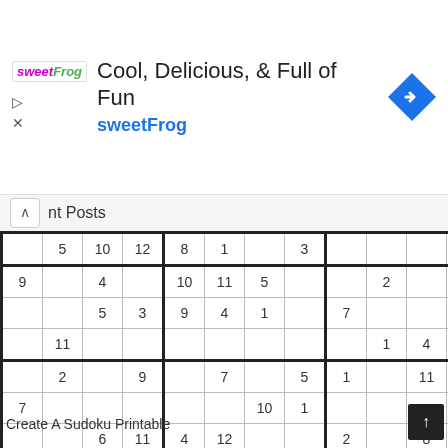[Figure (illustration): sweetFrog advertisement banner with logo, headline 'Cool, Delicious, & Full of Fun', brand name 'sweetFrog' in blue, and a blue diamond navigation arrow icon]
nt Posts
|  | 5 | 10 | 12 | 8 | 1 |  | 3 |  |  |  |  |
| --- | --- | --- | --- | --- | --- | --- | --- | --- | --- | --- | --- |
| 9 |  | 4 |  | 10 | 11 | 5 |  |  | 2 |  | 8 |
|  |  | 5 | 3 | 9 | 4 | 1 |  | 7 |  |  | 6 |
|  | 11 |  |  |  |  |  |  |  | 1 | 4 |  |
|  | 2 |  | 9 |  | 7 |  | 5 | 1 |  | 11 | 10 |
| 7 |  |  |  |  |  | 10 | 1 |  |  |  |  |
|  |  | 6 | 11 | 4 | 12 |  |  | 2 |  | 8 | 7 |
|  | 12 | 7 |  |  |  |  | 6 |  |  | 1 |  |
Create A Sudoku Printable